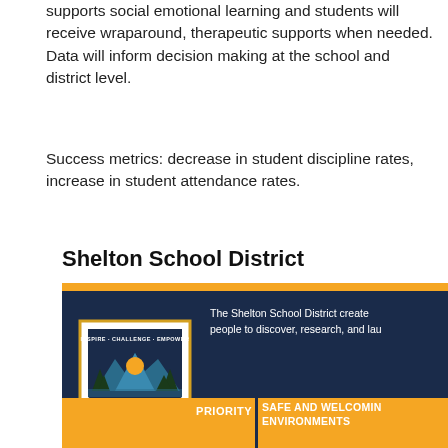supports social emotional learning and students will receive wraparound, therapeutic supports when needed. Data will inform decision making at the school and district level.
Success metrics: decrease in student discipline rates, increase in student attendance rates.
Shelton School District
[Figure (screenshot): Shelton School District website banner showing the Shelton Success logo on a dark navy background with orange accents. Text reads 'The Shelton School District create... people to discover, research, and lau...' Bottom section shows 'PRIORITY | SAFE AND WELCOMING ENVIRONMENTS' on orange background.]